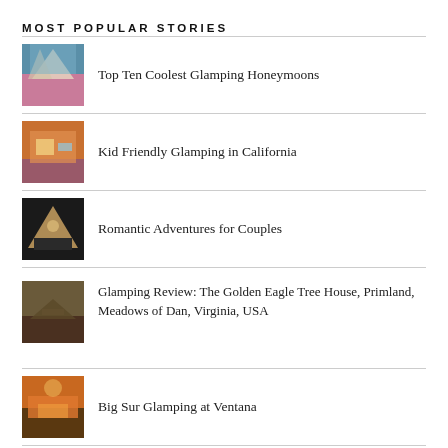MOST POPULAR STORIES
Top Ten Coolest Glamping Honeymoons
Kid Friendly Glamping in California
Romantic Adventures for Couples
Glamping Review: The Golden Eagle Tree House, Primland, Meadows of Dan, Virginia, USA
Big Sur Glamping at Ventana
Grand Canyon Glamping at Under Canvas